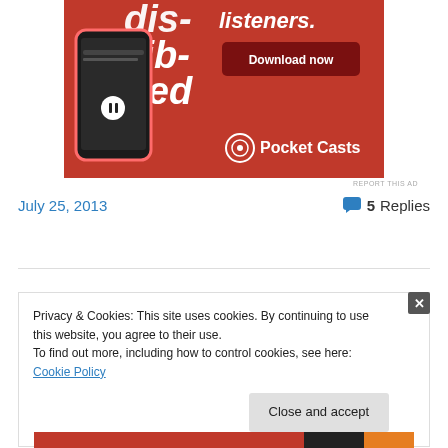[Figure (illustration): Pocket Casts app advertisement showing a smartphone with the app open on a red background, with 'Download now' button and Pocket Casts logo]
REPORT THIS AD
July 25, 2013
5 Replies
Privacy & Cookies: This site uses cookies. By continuing to use this website, you agree to their use.
To find out more, including how to control cookies, see here: Cookie Policy
Close and accept